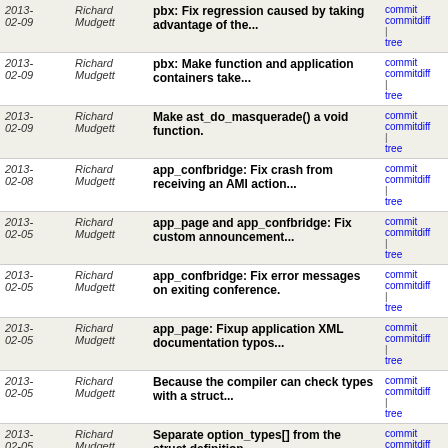| Date | Author | Message | Links |
| --- | --- | --- | --- |
| 2013-02-09 | Richard Mudgett | pbx: Fix regression caused by taking advantage of the... | commit | commitdiff | tree |
| 2013-02-09 | Richard Mudgett | pbx: Make function and application containers take... | commit | commitdiff | tree |
| 2013-02-09 | Richard Mudgett | Make ast_do_masquerade() a void function. | commit | commitdiff | tree |
| 2013-02-08 | Richard Mudgett | app_confbridge: Fix crash from receiving an AMI action... | commit | commitdiff | tree |
| 2013-02-05 | Richard Mudgett | app_page and app_confbridge: Fix custom announcement... | commit | commitdiff | tree |
| 2013-02-05 | Richard Mudgett | app_confbridge: Fix error messages on exiting conference. | commit | commitdiff | tree |
| 2013-02-05 | Richard Mudgett | app_page: Fixup application XML documentation typos... | commit | commitdiff | tree |
| 2013-02-05 | Richard Mudgett | Because the compiler can check types with a struct... | commit | commitdiff | tree |
| 2013-02-05 | Richard Mudgett | Separate option_types[] from the struct definition. | commit | commitdiff | tree |
| 2013-02-01 | Richard Mudgett | chan_iax2: Fix compile error if MALLOC_DEBUG enabled. | commit | commitdiff | tree |
| 2013-01-31 | Richard Mudgett | bridge_multiplexed: Keep the multiplexed thread until... | commit | commitdiff | tree |
| 2013-01-31 | Richard Mudgett | Improve func FRAME_TRACE DTMF digit format. | commit | commitdiff | tree |
| 2013-01-31 | Richard Mudgett | Eliminate an unused lock in ast_bridge_channel. | commit | commitdiff | tree |
| 2013-01- | Richard Mudgett | Eliminate a use of a C++ keyword as a | commit | commitdiff |